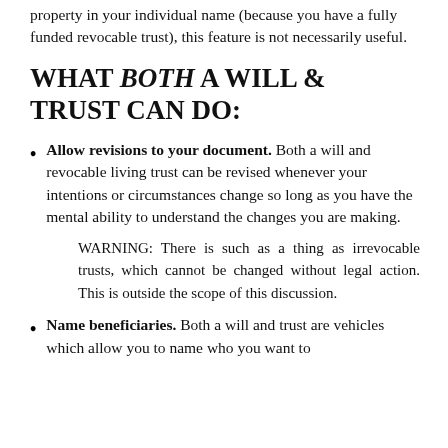property in your individual name (because you have a fully funded revocable trust), this feature is not necessarily useful.
WHAT BOTH A WILL & TRUST CAN DO:
Allow revisions to your document. Both a will and revocable living trust can be revised whenever your intentions or circumstances change so long as you have the mental ability to understand the changes you are making.
WARNING: There is such as a thing as irrevocable trusts, which cannot be changed without legal action. This is outside the scope of this discussion.
Name beneficiaries. Both a will and trust are vehicles which allow you to name who you want to